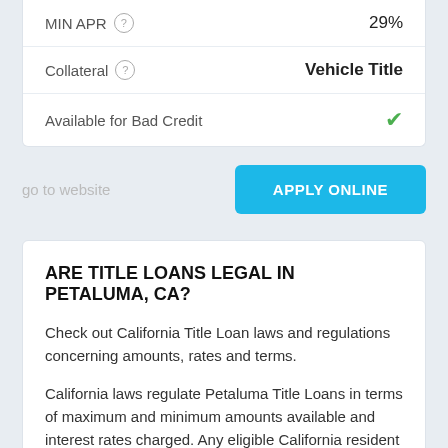| Field | Value |
| --- | --- |
| MIN APR (?) | 29% |
| Collateral (?) | Vehicle Title |
| Available for Bad Credit | ✓ |
go to website
APPLY ONLINE
ARE TITLE LOANS LEGAL IN PETALUMA, CA?
Check out California Title Loan laws and regulations concerning amounts, rates and terms.
California laws regulate Petaluma Title Loans in terms of maximum and minimum amounts available and interest rates charged. Any eligible California resident can get $100 - $50,000. The repayment terms vary – 31 day(s), up
APPLY ONLINE    CALL NOW